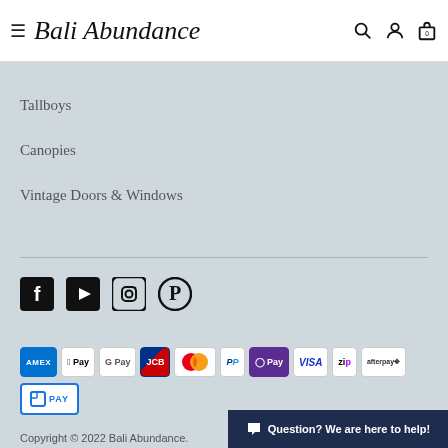Bali Abundance
Tallboys
Canopies
Vintage Doors & Windows
[Figure (infographic): Social media icons: Facebook, YouTube, Instagram, Pinterest]
[Figure (infographic): Payment method logos: AMEX, Apple Pay, Google Pay, JCB, Mastercard, PayPal, OPay, VISA, Zip, Afterpay, Lat Pay]
Copyright © 2022 Bali Abundance.
Question? We are here to help!